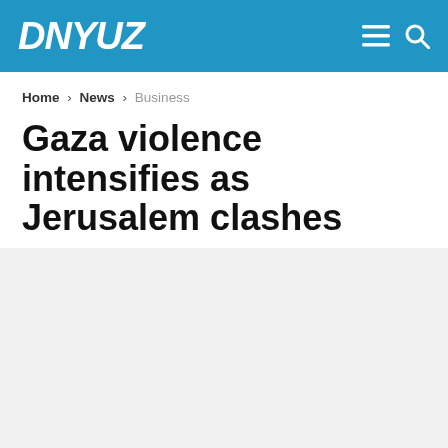DNYUZ
Home > News > Business
Gaza violence intensifies as Jerusalem clashes resume
April 21, 2022